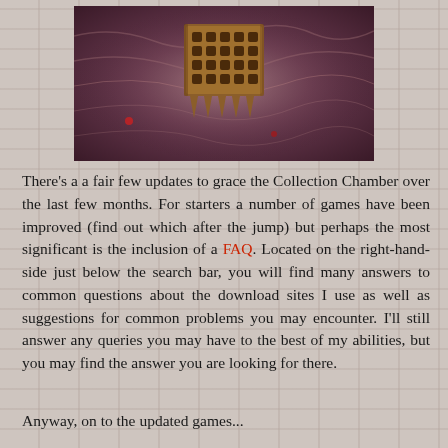[Figure (photo): A banner image showing a wooden checkerboard-style game piece or logo with downward-pointing spikes, set against a dark purplish-red textured background resembling biological tissue or abstract art.]
There's a a fair few updates to grace the Collection Chamber over the last few months. For starters a number of games have been improved (find out which after the jump) but perhaps the most significant is the inclusion of a FAQ. Located on the right-hand-side just below the search bar, you will find many answers to common questions about the download sites I use as well as suggestions for common problems you may encounter. I'll still answer any queries you may have to the best of my abilities, but you may find the answer you are looking for there.
Anyway, on to the updated games...